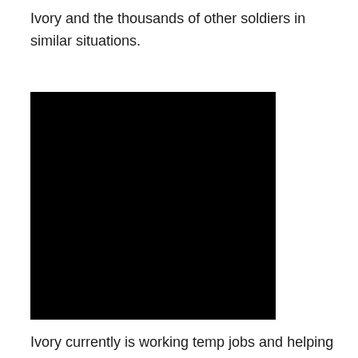Ivory and the thousands of other soldiers in similar situations.
[Figure (photo): A large black rectangular image, likely a photograph that has been redacted or is not rendering.]
Ivory currently is working temp jobs and helping a friend launch Capital Custom, a custom apparel shop.